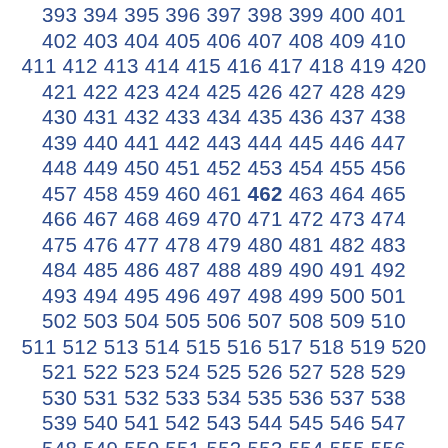393 394 395 396 397 398 399 400 401 402 403 404 405 406 407 408 409 410 411 412 413 414 415 416 417 418 419 420 421 422 423 424 425 426 427 428 429 430 431 432 433 434 435 436 437 438 439 440 441 442 443 444 445 446 447 448 449 450 451 452 453 454 455 456 457 458 459 460 461 462 463 464 465 466 467 468 469 470 471 472 473 474 475 476 477 478 479 480 481 482 483 484 485 486 487 488 489 490 491 492 493 494 495 496 497 498 499 500 501 502 503 504 505 506 507 508 509 510 511 512 513 514 515 516 517 518 519 520 521 522 523 524 525 526 527 528 529 530 531 532 533 534 535 536 537 538 539 540 541 542 543 544 545 546 547 548 549 550 551 552 553 554 555 556 557 558 559 560 561 562 563 564 565 566 567 568 569 570 571 572 573 574 575 576 577 578 579 580 581 582 583 584 585 586 587 588 589 590 591 592